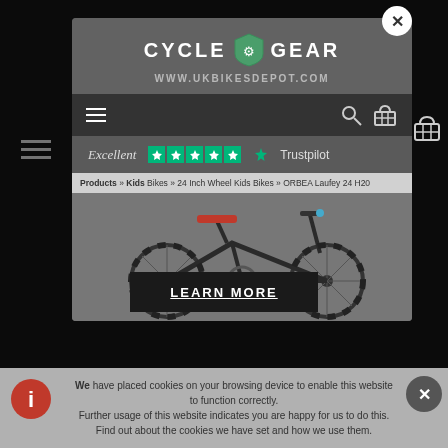[Figure (screenshot): Website screenshot of UK Bikes Depot / Cycle Gear showing a modal overlay with Cycle Gear logo, navigation, Trustpilot rating bar, breadcrumb navigation, ORBEA Laufey 24 H20 bike product image, Learn More button, and cookie consent banner.]
CYCLE GEAR
WWW.UKBIKESDEPOT.COM
Excellent ★★★★★ Trustpilot
Products » Kids Bikes » 24 Inch Wheel Kids Bikes » ORBEA Laufey 24 H20
LEARN MORE
We have placed cookies on your browsing device to enable this website to function correctly. Further usage of this website indicates you are happy for us to do this. Find out about the cookies we have set and how we use them.